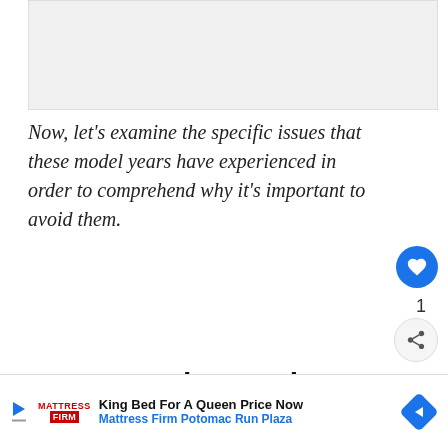[Figure (other): Advertisement placeholder / banner image area at top of page]
Now, let's examine the specific issues that these model years have experienced in order to comprehend why it's important to avoid them.
1994 Grand Marquis Problems:
The Mercury Grand Marquis 1994 have
[Figure (other): WHAT'S NEXT card overlay showing a dark vehicle thumbnail with text 'Which 6.7 Powerstroke...']
[Figure (other): Advertisement banner: King Bed For A Queen Price Now - Mattress Firm Potomac Run Plaza, with navigation arrow icon]